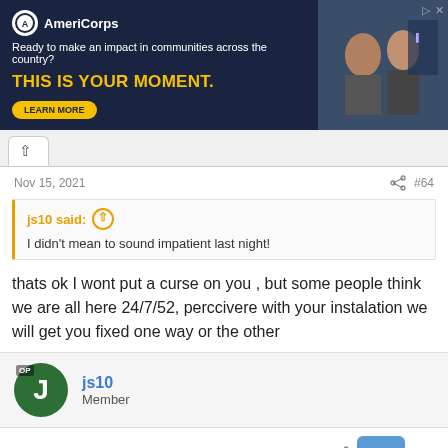[Figure (other): AmeriCorps advertisement banner with dark navy background. Logo with 'AmeriCorps' text, tagline 'Ready to make an impact in communities across the country?', headline 'THIS IS YOUR MOMENT.' in yellow, a 'LEARN MORE' button, and a photo of people on the right.]
Nov 15, 2021   #64
js10 said: ↑
I didn't mean to sound impatient last night!
thats ok I wont put a curse on you , but some people think we are all here 24/7/52, perccivere with your instalation we will get you fixed one way or the other
js10
Member
Nov 16, 2021   #65
Lord Boltar said: ↑